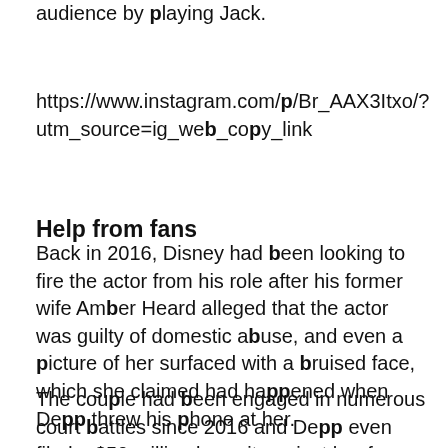audience by playing Jack.
https://www.instagram.com/p/Br_AAX3Itxo/?utm_source=ig_web_copy_link
Help from fans
Back in 2016, Disney had been looking to fire the actor from his role after his former wife Amber Heard alleged that the actor was guilty of domestic abuse, and even a picture of her surfaced with a bruised face, which she claimed had happened when Depp threw his phone at her.
The couple had been engaged in numerous court battles since 2016 and Depp even filed a $50 million lawsuit against her for making false